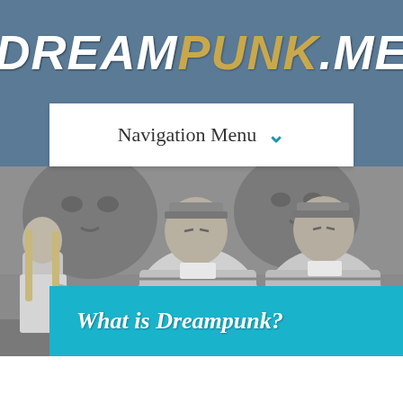DREAMPUNK.ME
Navigation Menu ▾
[Figure (photo): Black and white photo of Alice (young girl with long blonde hair in a light dress) standing next to Tweedledee and Tweedledum (two rotund identical men in striped shirts and small caps), with stone figures visible in the background.]
What is Dreampunk?